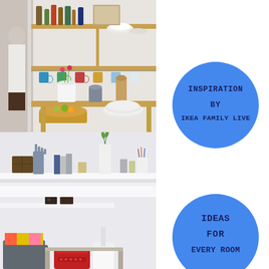[Figure (photo): Kitchen with wooden shelves lined with dishes, bottles, and hanging mugs. A person stands blurred in the background left. Lower shelves show baskets, plates, and storage.]
[Figure (infographic): Blue circle with dark blue text reading INSPIRATION BY IKEA FAMILY LIVE]
[Figure (photo): White wall shelf with decorative items including a hand-shaped sculpture, books, plants, and wooden boxes.]
[Figure (photo): Living room corner with a colorful striped pillow on a grey chair, white shelving, a lamp, and a red typewriter on a side table.]
[Figure (infographic): Blue circle with dark blue text reading IDEAS FOR EVERY ROOM]